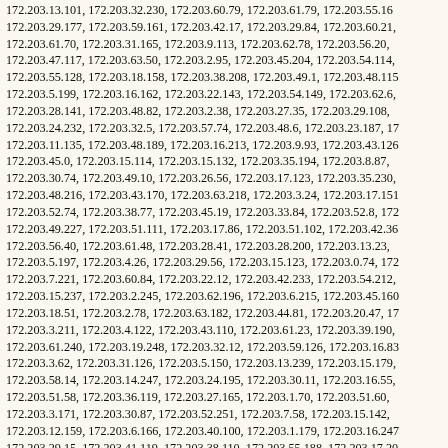172.203.13.101, 172.203.32.230, 172.203.60.79, 172.203.61.79, 172.203.55.160, 172.203.29.177, 172.203.59.161, 172.203.42.17, 172.203.29.84, 172.203.60.21, 172.203.61.70, 172.203.31.165, 172.203.9.113, 172.203.62.78, 172.203.56.20, 172.203.47.117, 172.203.63.50, 172.203.2.95, 172.203.45.204, 172.203.54.114, 172.203.55.128, 172.203.18.158, 172.203.38.208, 172.203.49.1, 172.203.48.115, 172.203.5.199, 172.203.16.162, 172.203.22.143, 172.203.54.149, 172.203.62.6, 172.203.28.141, 172.203.48.82, 172.203.2.38, 172.203.27.35, 172.203.29.108, 172.203.24.232, 172.203.32.5, 172.203.57.74, 172.203.48.6, 172.203.23.187, 172.203.11.135, 172.203.48.189, 172.203.16.213, 172.203.9.93, 172.203.43.126, 172.203.45.0, 172.203.15.114, 172.203.15.132, 172.203.35.194, 172.203.8.87, 172.203.30.74, 172.203.49.10, 172.203.26.56, 172.203.17.123, 172.203.35.230, 172.203.48.216, 172.203.43.170, 172.203.63.218, 172.203.3.24, 172.203.17.151, 172.203.52.74, 172.203.38.77, 172.203.45.19, 172.203.33.84, 172.203.52.8, 172.203.49.227, 172.203.51.111, 172.203.17.86, 172.203.51.102, 172.203.42.36, 172.203.56.40, 172.203.61.48, 172.203.28.41, 172.203.28.200, 172.203.13.23, 172.203.5.197, 172.203.4.26, 172.203.29.56, 172.203.15.123, 172.203.0.74, 172.203.7.221, 172.203.60.84, 172.203.22.12, 172.203.42.233, 172.203.54.212, 172.203.15.237, 172.203.2.245, 172.203.62.196, 172.203.6.215, 172.203.45.160, 172.203.18.51, 172.203.2.78, 172.203.63.182, 172.203.44.81, 172.203.20.47, 172.203.3.211, 172.203.4.122, 172.203.43.110, 172.203.61.23, 172.203.39.190, 172.203.61.240, 172.203.19.248, 172.203.32.12, 172.203.59.126, 172.203.16.83, 172.203.3.62, 172.203.31.126, 172.203.5.150, 172.203.13.239, 172.203.15.179, 172.203.58.14, 172.203.14.247, 172.203.24.195, 172.203.30.11, 172.203.16.55, 172.203.51.58, 172.203.36.119, 172.203.27.165, 172.203.1.70, 172.203.51.60, 172.203.3.171, 172.203.30.87, 172.203.52.251, 172.203.7.58, 172.203.15.142, 172.203.12.159, 172.203.6.166, 172.203.40.100, 172.203.1.179, 172.203.16.247, 172.203.29.15, 172.203.41.119, 172.203.38.110, 172.203.55.188, 172.203.17.20, 172.203.45.77, 172.203.12.15, 172.203.16.106, 172.203.19.65, 172.203.12.4, 172.203.26.221, 172.203.13.190, 172.203.3.176, 172.203.60.72, 172.203.17.229, 172.203.48.185, 172.203.6.177, 172.203.51.90, 172.203.63.145, 172.203.51.43, 172.203.61.72, 172.203.0.0, 172.203.43.236, 172.203.1.90, 172.203.2.10, 172.203.58.15, 172.203.54.238, 172.203.12.49, 172.203.40.229, 172.203.6.164, 172.203.46.211, 172.203.63.24, 172.203.0.164, 172.203.6.247, 172.203.7.6